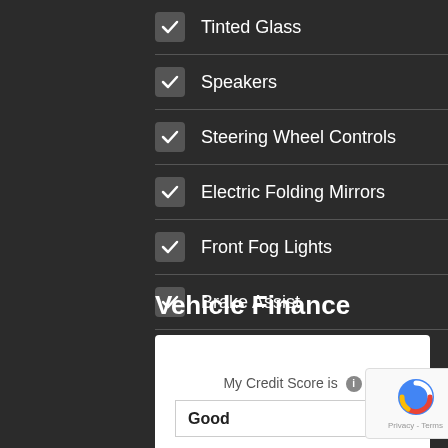Tinted Glass
Speakers
Steering Wheel Controls
Electric Folding Mirrors
Front Fog Lights
Brake Assist
Daytime Running Lights
Vehicle Finance
My Credit Score is
Good
Cash Price (inc VAT)